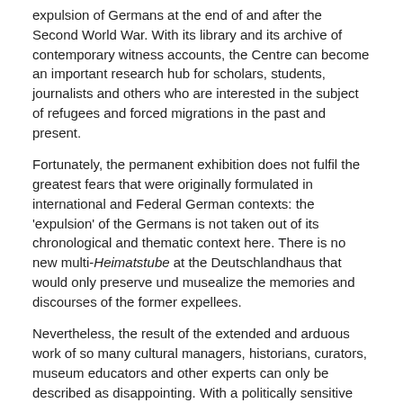expulsion of Germans at the end of and after the Second World War. With its library and its archive of contemporary witness accounts, the Centre can become an important research hub for scholars, students, journalists and others who are interested in the subject of refugees and forced migrations in the past and present.
Fortunately, the permanent exhibition does not fulfil the greatest fears that were originally formulated in international and Federal German contexts: the 'expulsion' of the Germans is not taken out of its chronological and thematic context here. There is no new multi-Heimatstube at the Deutschlandhaus that would only preserve und musealize the memories and discourses of the former expellees.
Nevertheless, the result of the extended and arduous work of so many cultural managers, historians, curators, museum educators and other experts can only be described as disappointing. With a politically sensitive issue such as this, it is legitimate to expect that a central permanent exhibition not only reproduce what has been experienced, but also demonstrate critical distance from the politically contentious narratives. Yet, the uncritical adherence to the central concept of 'expulsion', the adoption of the categories of nationality as used in the 1930s and 1940s without deconstructing them, and the reproduction of the